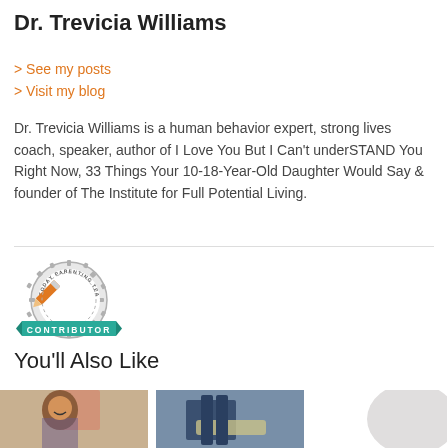Dr. Trevicia Williams
> See my posts
> Visit my blog
Dr. Trevicia Williams is a human behavior expert, strong lives coach, speaker, author of I Love You But I Can't underSTAND You Right Now, 33 Things Your 10-18-Year-Old Daughter Would Say & founder of The Institute for Full Potential Living.
[Figure (logo): TODAY PARENTING TEAM CONTRIBUTOR badge — circular emblem with pencil graphic and teal banner reading CONTRIBUTOR]
You'll Also Like
[Figure (photo): Thumbnail photo showing a young Asian woman smiling in a classroom setting with a person in a salmon shirt in background]
[Figure (photo): Thumbnail photo showing jeans and what appears to be skateboard or book]
[Figure (photo): Thumbnail showing a mostly white/grey rounded shape]